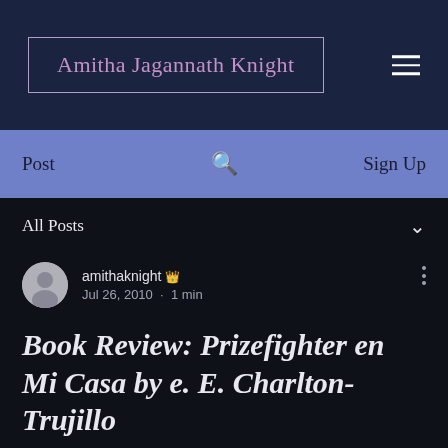Amitha Jagannath Knight
Post    Sign Up
All Posts
amithaknight  Jul 26, 2010 · 1 min
Book Review: Prizefighter en Mi Casa by e. E. Charlton-Trujillo